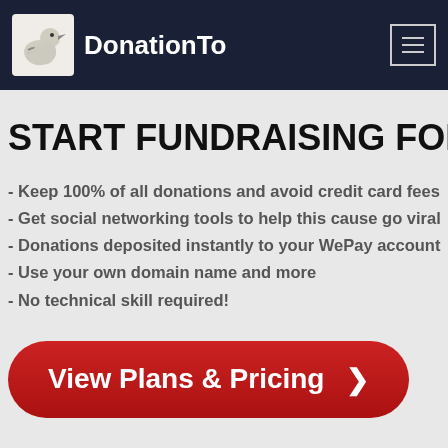DonationTo
START FUNDRAISING FOR SKA
- Keep 100% of all donations and avoid credit card fees
- Get social networking tools to help this cause go viral
- Donations deposited instantly to your WePay account
- Use your own domain name and more
- No technical skill required!
View Plans & Pricing